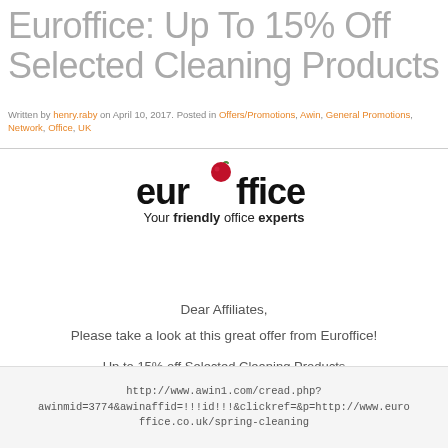Euroffice: Up To 15% Off Selected Cleaning Products
Written by henry.raby on April 10, 2017. Posted in Offers/Promotions, Awin, General Promotions, Network, Office, UK
[Figure (logo): Euroffice logo with cherry replacing the 'o', tagline: Your friendly office experts]
Dear Affiliates,
Please take a look at this great offer from Euroffice!
Up to 15% off Selected Cleaning Products
Ends 30th April
http://www.awin1.com/cread.php?awinmid=3774&awinaffid=!!!id!!!&clickref=&p=http://www.euroffice.co.uk/spring-cleaning